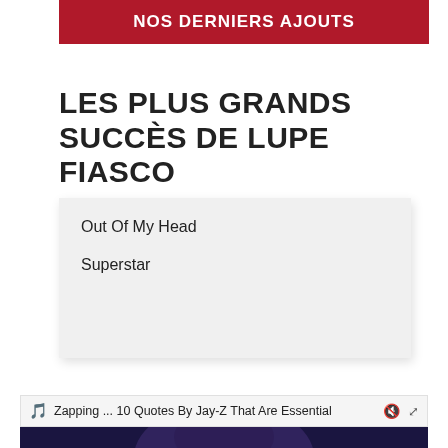NOS DERNIERS AJOUTS
LES PLUS GRANDS SUCCÈS DE LUPE FIASCO
Out Of My Head
Superstar
Zapping ... 10 Quotes By Jay-Z That Are Essential
[Figure (photo): Photo of Jay-Z performing on stage with blue/purple lighting, dreadlocks visible, wearing dark clothing]